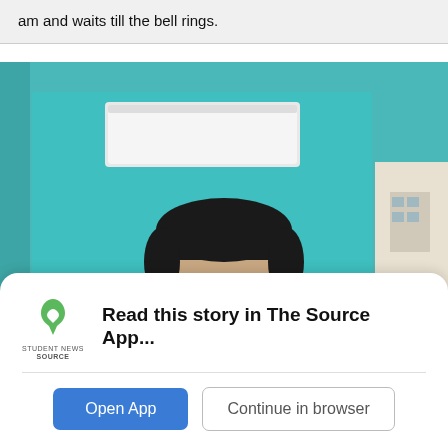am and waits till the bell rings.
[Figure (photo): A person wearing dark sunglasses photographed from the chest up, standing in front of a teal/aqua colored wall or door. An air conditioning unit is visible mounted on the wall in the upper left of the image.]
Read this story in The Source App...
Open App
Continue in browser